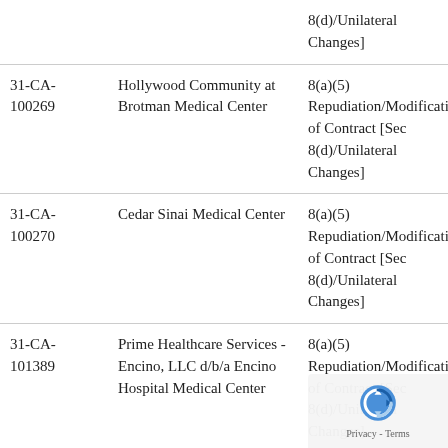| Case Number | Respondent | Allegation |
| --- | --- | --- |
| 31-CA-100254 (partial) | ... | 8(d)/Unilateral Changes] |
| 31-CA-100269 | Hollywood Community at Brotman Medical Center | 8(a)(5) Repudiation/Modification of Contract [Sec 8(d)/Unilateral Changes] |
| 31-CA-100270 | Cedar Sinai Medical Center | 8(a)(5) Repudiation/Modification of Contract [Sec 8(d)/Unilateral Changes] |
| 31-CA-101389 | Prime Healthcare Services - Encino, LLC d/b/a Encino Hospital Medical Center | 8(a)(5) Repudiation/Modification of Contract [Sec 8(d)/Unilateral Changes] |
| 31-CA-101433 | Marina Del Rey Hospital | 8(a)(5) Repudiation/Modification of Contract [Sec |